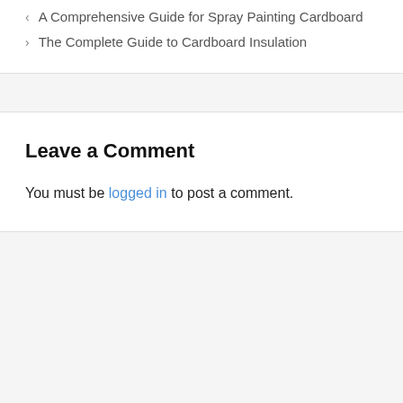< A Comprehensive Guide for Spray Painting Cardboard
> The Complete Guide to Cardboard Insulation
Leave a Comment
You must be logged in to post a comment.